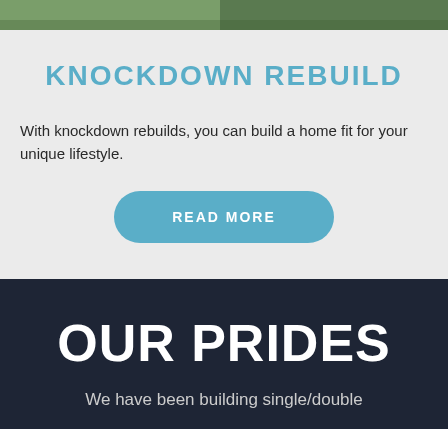[Figure (photo): Partial top image showing greenery and building exterior]
KNOCKDOWN REBUILD
With knockdown rebuilds, you can build a home fit for your unique lifestyle.
READ MORE
OUR PRIDES
We have been building single/double